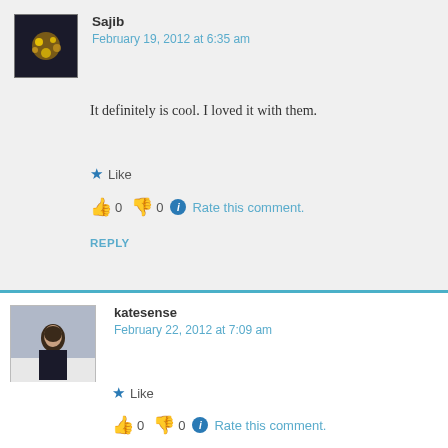Sajib
February 19, 2012 at 6:35 am
It definitely is cool. I loved it with them.
Like
0  0  Rate this comment.
REPLY
katesense
February 22, 2012 at 7:09 am
What a cool experience! Good for you : )
Like
0  0  Rate this comment.